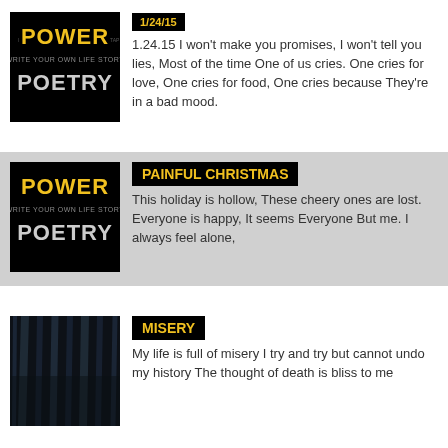[Figure (logo): Power Poetry logo on black background]
1/24/15
1.24.15 I won't make you promises, I won't tell you lies, Most of the time One of us cries. One cries for love, One cries for food, One cries because They're in a bad mood.
[Figure (logo): Power Poetry logo on black background]
PAINFUL CHRISTMAS
This holiday is hollow, These cheery ones are lost. Everyone is happy, It seems Everyone But me. I always feel alone,
[Figure (photo): Dark forest photo with vertical tree trunks]
MISERY
My life is full of misery I try and try but cannot undo my history The thought of death is bliss to me